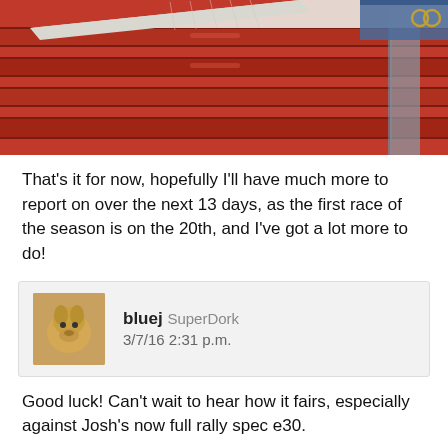[Figure (photo): Photo of a red toolbox/cabinet with drawers, with an open book or manual sitting on top of it]
That's it for now, hopefully I'll have much more to report on over the next 13 days, as the first race of the season is on the 20th, and I've got a lot more to do!
bluej SuperDork
3/7/16 2:31 p.m.
Good luck! Can't wait to hear how it fairs, especially against Josh's now full rally spec e30.
95maxrider New Reader